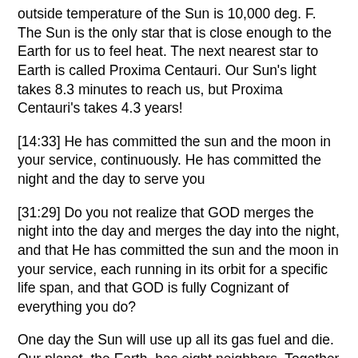outside temperature of the Sun is 10,000 deg. F. The Sun is the only star that is close enough to the Earth for us to feel heat. The next nearest star to Earth is called Proxima Centauri. Our Sun's light takes 8.3 minutes to reach us, but Proxima Centauri's takes 4.3 years!
[14:33] He has committed the sun and the moon in your service, continuously. He has committed the night and the day to serve you
[31:29] Do you not realize that GOD merges the night into the day and merges the day into the night, and that He has committed the sun and the moon in your service, each running in its orbit for a specific life span, and that GOD is fully Cognizant of everything you do?
One day the Sun will use up all its gas fuel and die. Our planet, the Earth, has eight neighbors. Together they make a family of nine planets which travel around the Sun. We call the Sun, and all the space bodies that whirl around it, the solar system. Beside the Sun and the planets, the solar system includes moons, mini planets called asteroids, and